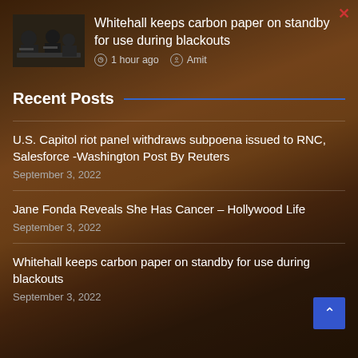[Figure (photo): Background photo of a young woman with long hair, brownish/amber toned]
[Figure (photo): Small black and white thumbnail photo of people working at typewriters]
Whitehall keeps carbon paper on standby for use during blackouts
1 hour ago  Amit
Recent Posts
U.S. Capitol riot panel withdraws subpoena issued to RNC, Salesforce -Washington Post By Reuters
September 3, 2022
Jane Fonda Reveals She Has Cancer – Hollywood Life
September 3, 2022
Whitehall keeps carbon paper on standby for use during blackouts
September 3, 2022